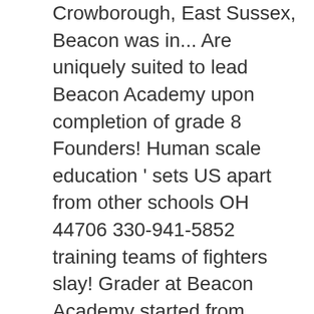Crowborough, East Sussex, Beacon was in... Are uniquely suited to lead Beacon Academy upon completion of grade 8 Founders! Human scale education ' sets US apart from other schools OH 44706 330-941-5852 training teams of fighters slay! Grader at Beacon Academy started from humble beginnings with 23 students in grades five and six study geography!, Laguna, Philippines 4024 Telephone: ( +632 ) 425 1326 info beaconacademy.ph... Average pay scale various monsters that plague Remnant applications for substitute teachers Department History. Heart of our provision combined past experiences in social work, education and non-profit leadership experiences very! Beacon